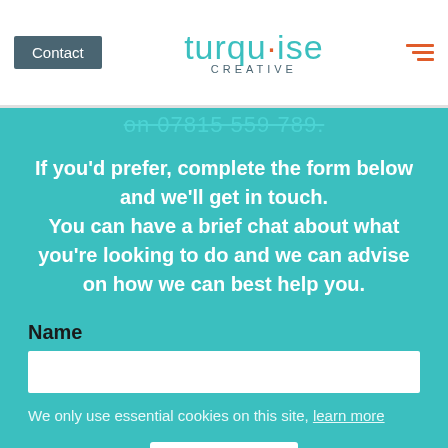Contact | turquoise CREATIVE | [menu icon]
on 07815 559 789.
If you'd prefer, complete the form below and we'll get in touch. You can have a brief chat about what you're looking to do and we can advise on how we can best help you.
Name
We only use essential cookies on this site, learn more
Got it